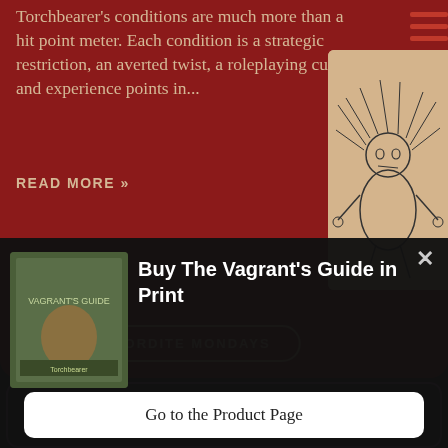Torchbearer's conditions are much more than a hit point meter. Each condition is a strategic restriction, an averted twist, a roleplaying cue, and experience points in...
READ MORE »
MORDITE MONDAYS
[Figure (illustration): Ink drawing of a wild-haired creature or monster figure on a beige/parchment background]
HAIL SOFTCOVER!
[Figure (screenshot): Popup overlay showing book cover of Vagrant's Guide and buy prompt]
Buy The Vagrant's Guide in Print
Go to the Product Page